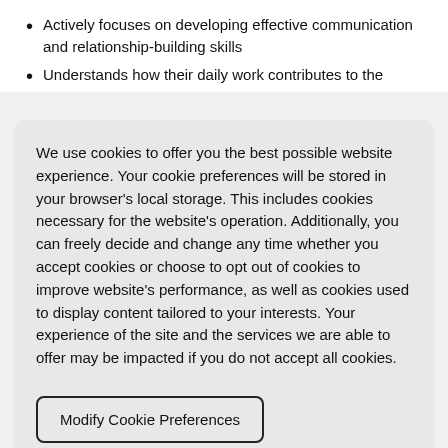Actively focuses on developing effective communication and relationship-building skills
Understands how their daily work contributes to the priorities of
We use cookies to offer you the best possible website experience. Your cookie preferences will be stored in your browser's local storage. This includes cookies necessary for the website's operation. Additionally, you can freely decide and change any time whether you accept cookies or choose to opt out of cookies to improve website's performance, as well as cookies used to display content tailored to your interests. Your experience of the site and the services we are able to offer may be impacted if you do not accept all cookies.
Modify Cookie Preferences
Accept All Cookies